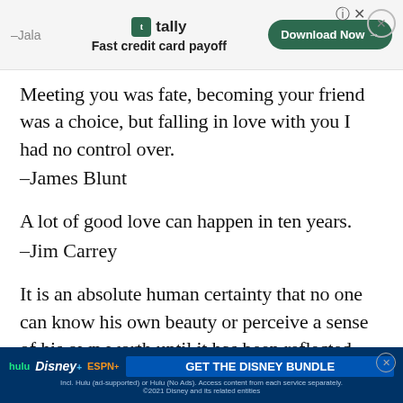[Figure (other): Tally advertisement banner: Fast credit card payoff, Download Now button]
Meeting you was fate, becoming your friend was a choice, but falling in love with you I had no control over.
–James Blunt
A lot of good love can happen in ten years.
–Jim Carrey
It is an absolute human certainty that no one can know his own beauty or perceive a sense of his own worth until it has been reflected back t…
[Figure (other): Disney Bundle advertisement banner: hulu, Disney+, ESPN+, GET THE DISNEY BUNDLE]